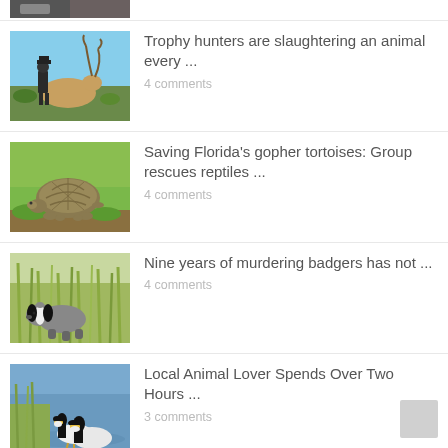[Figure (photo): Partial top-cropped image of a dark animal or person, only bottom strip visible]
[Figure (photo): Hunter posing with a large kudu or antelope with big horns]
Trophy hunters are slaughtering an animal every ...
4 comments
[Figure (photo): Gopher tortoise standing on green grass]
Saving Florida's gopher tortoises: Group rescues reptiles ...
4 comments
[Figure (photo): Badger in tall grass]
Nine years of murdering badgers has not ...
4 comments
[Figure (photo): Two Canada geese standing in shallow water near vegetation]
Local Animal Lover Spends Over Two Hours ...
3 comments